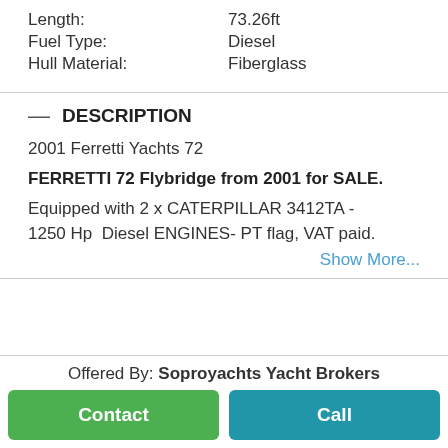| Length: | 73.26ft |
| Fuel Type: | Diesel |
| Hull Material: | Fiberglass |
— DESCRIPTION
2001 Ferretti Yachts 72
FERRETTI 72 Flybridge from 2001 for SALE.
Equipped with 2 x CATERPILLAR 3412TA - 1250 Hp  Diesel ENGINES- PT flag, VAT paid.
Show More...
Offered By: Soproyachts Yacht Brokers
Contact
Call